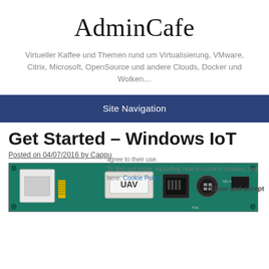AdminCafe
Virtueller Kaffee und Themen rund um Virtualisierung, VMware, Citrix, Microsoft, OpenSource und andere Clouds, Docker und Wolken…
Site Navigation
Get Started – Windows IoT
Posted on 04/07/2016 by Cappu
agree to their use.
To find out more, including how to control cookies, see here: Cookie Policy
Close and accept
[Figure (photo): Photo of a green IoT/microcontroller circuit board with components including connectors and chips]